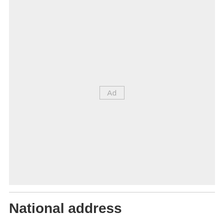[Figure (other): Advertisement placeholder box with 'Ad' label in center]
National address